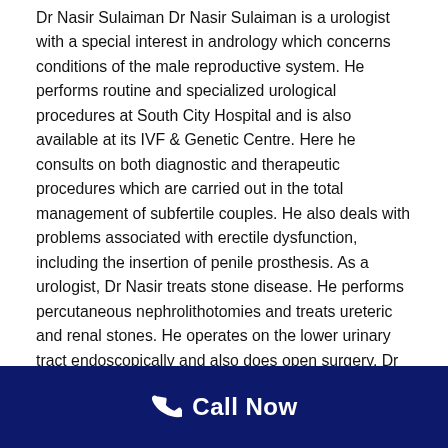Dr Nasir Sulaiman Dr Nasir Sulaiman is a urologist with a special interest in andrology which concerns conditions of the male reproductive system. He performs routine and specialized urological procedures at South City Hospital and is also available at its IVF & Genetic Centre. Here he consults on both diagnostic and therapeutic procedures which are carried out in the total management of subfertile couples. He also deals with problems associated with erectile dysfunction, including the insertion of penile prosthesis. As a urologist, Dr Nasir treats stone disease. He performs percutaneous nephrolithotomies and treats ureteric and renal stones. He operates on the lower urinary tract endoscopically and also does open surgery. Dr Nasir also works in the area of reconstructive urology, which includes artificial urinary sphincter implantation. He is also trained in augmentation and substitution cystoplasties, standard and video
Call Now